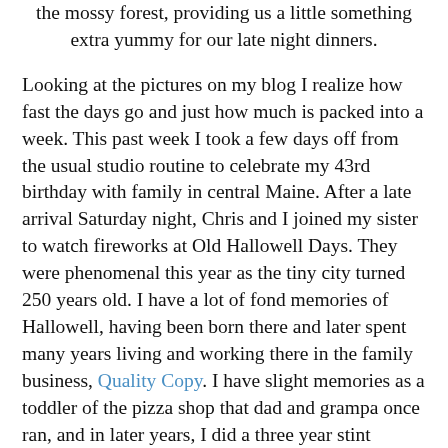the mossy forest, providing us a little something extra yummy for our late night dinners.
Looking at the pictures on my blog I realize how fast the days go and just how much is packed into a week. This past week I took a few days off from the usual studio routine to celebrate my 43rd birthday with family in central Maine. After a late arrival Saturday night, Chris and I joined my sister to watch fireworks at Old Hallowell Days. They were phenomenal this year as the tiny city turned 250 years old. I have a lot of fond memories of Hallowell, having been born there and later spent many years living and working there in the family business, Quality Copy. I have slight memories as a toddler of the pizza shop that dad and grampa once ran, and in later years, I did a three year stint organizing the city's parade for their annual celebration. Lots of great memories in Hallowell and I love making my way back for the festival when I can.
The next day we relaxed with a picnic at Reid State Park in Georgetown. The ocean here in Maine is cold, but I decided to brave the waters. For a hot day, the sandy beach was